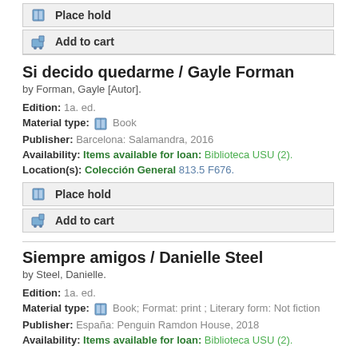Place hold
Add to cart
Si decido quedarme / Gayle Forman
by Forman, Gayle [Autor].
Edition: 1a. ed.
Material type: Book
Publisher: Barcelona: Salamandra, 2016
Availability: Items available for loan: Biblioteca USU (2).
Location(s): Colección General 813.5 F676.
Place hold
Add to cart
Siempre amigos / Danielle Steel
by Steel, Danielle.
Edition: 1a. ed.
Material type: Book; Format: print ; Literary form: Not fiction
Publisher: España: Penguin Ramdon House, 2018
Availability: Items available for loan: Biblioteca USU (2).